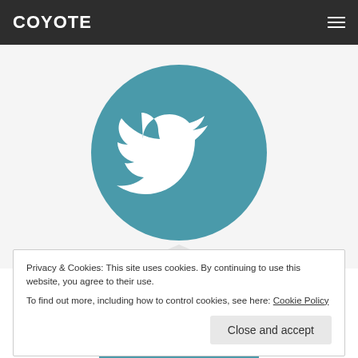COYOTE
[Figure (illustration): Twitter bird logo in white on a teal circle with a light shadow/triangle beneath it]
Twitter
Live tweets, photos, comments... chat live with us during a
Privacy & Cookies: This site uses cookies. By continuing to use this website, you agree to their use. To find out more, including how to control cookies, see here: Cookie Policy
Close and accept